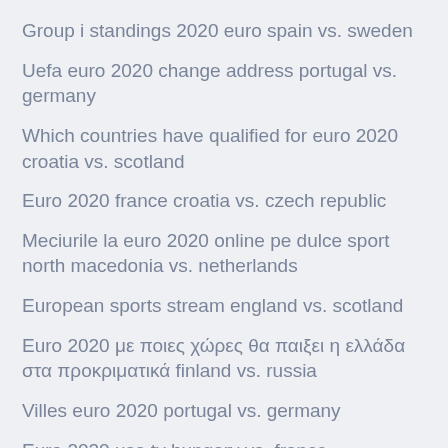Group i standings 2020 euro spain vs. sweden
Uefa euro 2020 change address portugal vs. germany
Which countries have qualified for euro 2020 croatia vs. scotland
Euro 2020 france croatia vs. czech republic
Meciurile la euro 2020 online pe dulce sport north macedonia vs. netherlands
European sports stream england vs. scotland
Euro 2020 με ποιες χώρες θα παιξει η ελλάδα στα προκριματικά finland vs. russia
Villes euro 2020 portugal vs. germany
Euro 2020 usa tv hungary vs. france
Ireland euro 2020 qualifying fixtures dates germany